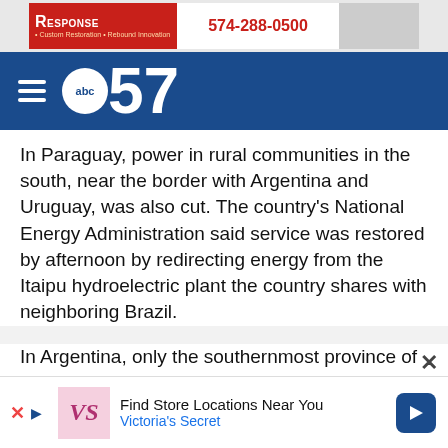[Figure (screenshot): Top advertisement banner with red RESPONSE logo and phone number 574-288-0500]
[Figure (logo): ABC57 news logo on dark blue navigation bar with hamburger menu icon]
In Paraguay, power in rural communities in the south, near the border with Argentina and Uruguay, was also cut. The country's National Energy Administration said service was restored by afternoon by redirecting energy from the Itaipu hydroelectric plant the country shares with neighboring Brazil.
In Argentina, only the southernmost province of Tierra del Fuego was unaffected by the outage because it is not connected to the main power grid.
Brazilian and Chilean officials said their countries had not been affected.
[Figure (screenshot): Bottom advertisement for Victoria's Secret with Find Store Locations Near You text]